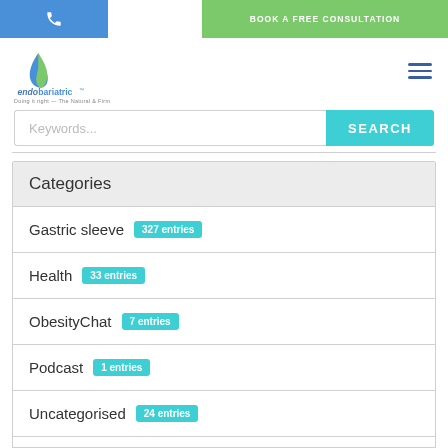[Figure (logo): Phone icon on blue background (top bar left)]
BOOK A FREE CONSULTATION
[Figure (logo): Endobariatric leaf logo with company name and tagline]
Keywords...
SEARCH
Categories
Gastric sleeve 327 entries
Health 33 entries
ObesityChat 7 entries
Podcast 1 entries
Uncategorised 24 entries